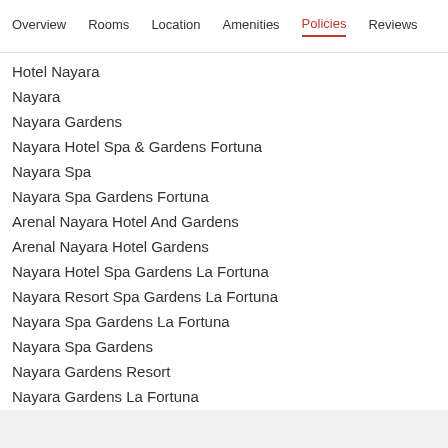Overview  Rooms  Location  Amenities  Policies  Reviews
Hotel Nayara
Nayara
Nayara Gardens
Nayara Hotel Spa & Gardens Fortuna
Nayara Spa
Nayara Spa Gardens Fortuna
Arenal Nayara Hotel And Gardens
Arenal Nayara Hotel Gardens
Nayara Hotel Spa Gardens La Fortuna
Nayara Resort Spa Gardens La Fortuna
Nayara Spa Gardens La Fortuna
Nayara Spa Gardens
Nayara Gardens Resort
Nayara Gardens La Fortuna
Nayara Resort Spa Gardens
Nayara Gardens Resort La Fortuna